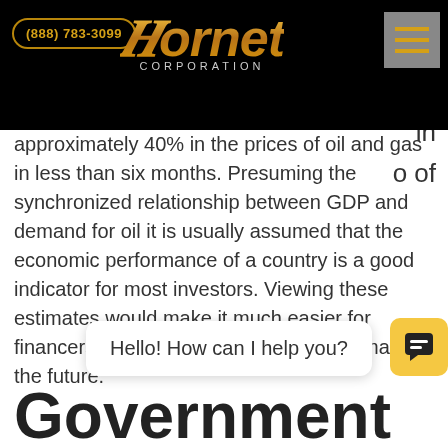(888) 783-3099 | Hornet Corporation
approximately 40% in the prices of oil and gas in less than six months. Presuming the synchronized relationship between GDP and demand for oil it is usually assumed that the economic performance of a country is a good indicator for most investors. Viewing these estimates would make it much easier for financers to estimate the oil and gas demand in the future.
Hello! How can I help you?
Government